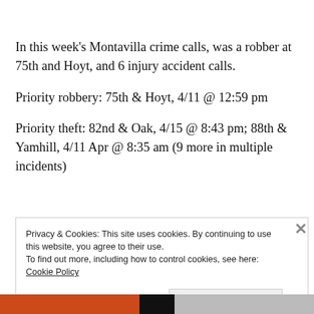In this week's Montavilla crime calls, was a robber at 75th and Hoyt, and 6 injury accident calls.
Priority robbery: 75th & Hoyt, 4/11 @ 12:59 pm
Priority theft: 82nd & Oak, 4/15 @ 8:43 pm; 88th & Yamhill, 4/11 Apr @ 8:35 am (9 more in multiple incidents)
Privacy & Cookies: This site uses cookies. By continuing to use this website, you agree to their use.
To find out more, including how to control cookies, see here: Cookie Policy
Close and accept